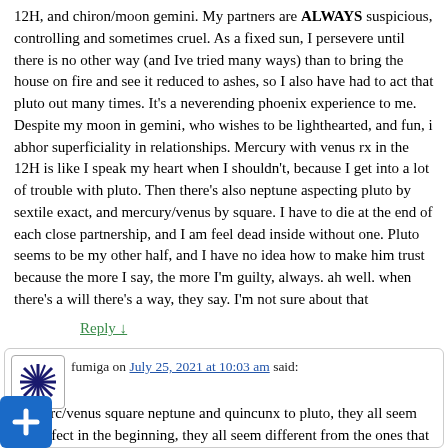12H, and chiron/moon gemini. My partners are ALWAYS suspicious, controlling and sometimes cruel. As a fixed sun, I persevere until there is no other way (and Ive tried many ways) than to bring the house on fire and see it reduced to ashes, so I also have had to act that pluto out many times. It's a neverending phoenix experience to me. Despite my moon in gemini, who wishes to be lighthearted, and fun, i abhor superficiality in relationships. Mercury with venus rx in the 12H is like I speak my heart when I shouldn't, because I get into a lot of trouble with pluto. Then there's also neptune aspecting pluto by sextile exact, and mercury/venus by square. I have to die at the end of each close partnership, and I am feel dead inside without one. Pluto seems to be my other half, and I have no idea how to make him trust because the more I say, the more I'm guilty, always. ah well. when there's a will there's a way, they say. I'm not sure about that
Reply ↓
fumiga on July 25, 2021 at 10:03 am said:
marc/venus square neptune and quincunx to pluto, they all seem perfect in the beginning, they all seem different from the ones that came before… ? until red flags show up everywhere and im too deep already to get out.
I have many grim stories to tell. Perhaps I write a book some day.